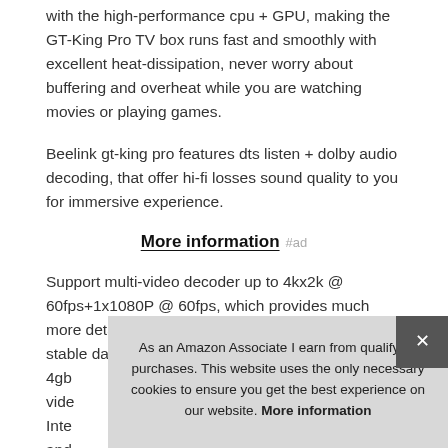with the high-performance cpu + GPU, making the GT-King Pro TV box runs fast and smoothly with excellent heat-dissipation, never worry about buffering and overheat while you are watching movies or playing games.
Beelink gt-king pro features dts listen + dolby audio decoding, that offer hi-fi losses sound quality to you for immersive experience.
More information #ad
Support multi-video decoder up to 4kx2k @ 60fps+1x1080P @ 60fps, which provides much more detailed and better-looking image. Wifi6, stable data and video output on your device 24/7. 4gb... vide... Inte... and...
As an Amazon Associate I earn from qualifying purchases. This website uses the only necessary cookies to ensure you get the best experience on our website. More information